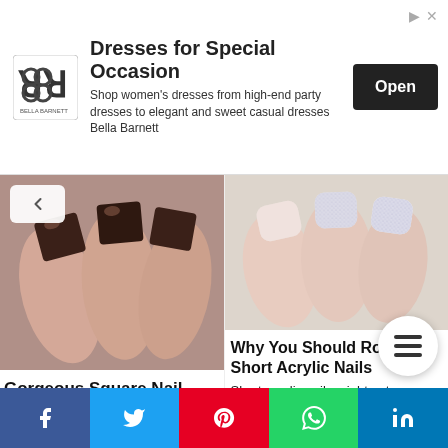[Figure (other): Advertisement banner: Bella Barnett logo, 'Dresses for Special Occasion' title, shop description, and Open button]
[Figure (photo): Close-up photo of dark brown/chocolate square acrylic nails with metallic sheen]
Gorgeous Square Nail Ideas and Tips on How to Rock Them
Square nails are awesome all year round. In case you
[Figure (photo): Close-up photo of short acrylic nails with white/pink and glitter finish]
Why You Should Rock Short Acrylic Nails
Short acrylic nails might not particularly be as popular as their longer
Read More